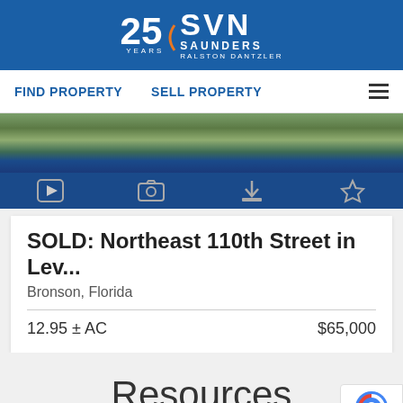[Figure (logo): SVN Saunders Ralston Dantzler 25 Years logo on blue background]
FIND PROPERTY   SELL PROPERTY
[Figure (photo): Aerial/landscape photo of property land with trees and scrub vegetation, blue sky; below it a dark blue icon bar with play, camera, download, and star icons]
SOLD: Northeast 110th Street in Lev...
Bronson, Florida
12.95 ± AC
$65,000
Resources